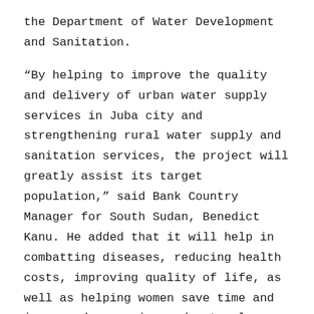the Department of Water Development and Sanitation.
“By helping to improve the quality and delivery of urban water supply services in Juba city and strengthening rural water supply and sanitation services, the project will greatly assist its target population,” said Bank Country Manager for South Sudan, Benedict Kanu. He added that it will help in combatting diseases, reducing health costs, improving quality of life, as well as helping women save time and increased convenience due to closer water supply outlets.
Development aid
Since 2012, the Bank has contributed more than $136.79 million in development aid across various sectors in South Sudan. Bank support has focused on capacity building,